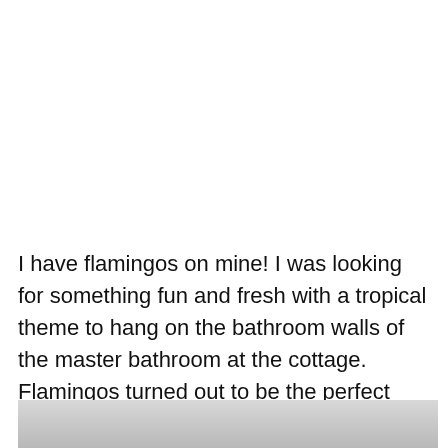I have flamingos on mine! I was looking for something fun and fresh with a tropical theme to hang on the bathroom walls of the master bathroom at the cottage. Flamingos turned out to be the perfect decorating choice.
[Figure (photo): Partial view of a bathroom interior, cropped at the bottom of the page]